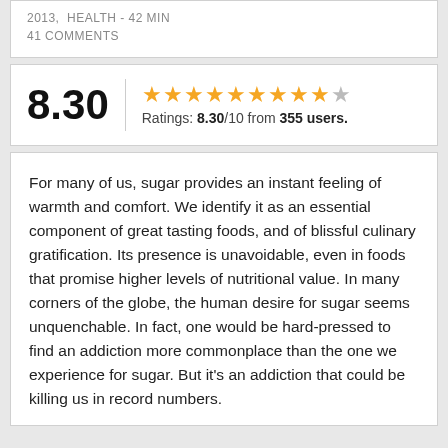2013,  HEALTH - 42 MIN
41 COMMENTS
8.30  Ratings: 8.30/10 from 355 users.
For many of us, sugar provides an instant feeling of warmth and comfort. We identify it as an essential component of great tasting foods, and of blissful culinary gratification. Its presence is unavoidable, even in foods that promise higher levels of nutritional value. In many corners of the globe, the human desire for sugar seems unquenchable. In fact, one would be hard-pressed to find an addiction more commonplace than the one we experience for sugar. But it's an addiction that could be killing us in record numbers.